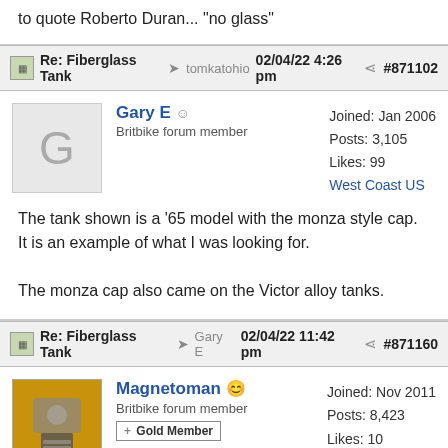to quote Roberto Duran... "no glass"
Re: Fiberglass Tank → tomkatohio 02/04/22 4:26 pm #871102
Gary E — Britbike forum member — Joined: Jan 2006, Posts: 3,105, Likes: 99, West Coast US
The tank shown is a '65 model with the monza style cap. It is an example of what I was looking for.

The monza cap also came on the Victor alloy tanks.
Re: Fiberglass Tank → Gary E 02/04/22 11:42 pm #871160
Magnetoman — Britbike forum member — Gold Member — Joined: Nov 2011, Posts: 8,423, Likes: 1022, U.S.